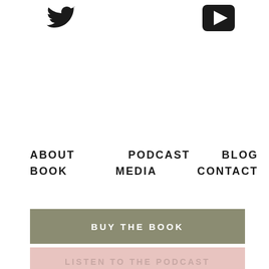[Figure (logo): Twitter bird icon in black, top left area]
[Figure (logo): Play button / YouTube-style icon in black, top right area]
ABOUT
PODCAST
BLOG
BOOK
MEDIA
CONTACT
BUY THE BOOK
LISTEN TO THE PODCAST